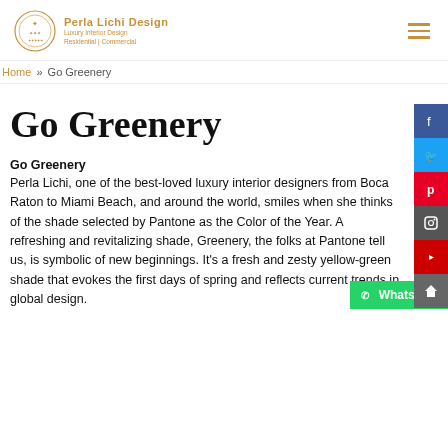Perla Lichi Design — Luxury Interior Design Residential | Commercial
Home » Go Greenery
Go Greenery
Go Greenery
Perla Lichi, one of the best-loved luxury interior designers from Boca Raton to Miami Beach, and around the world, smiles when she thinks of the shade selected by Pantone as the Color of the Year. A refreshing and revitalizing shade, Greenery, the folks at Pantone tell us, is symbolic of new beginnings. It's a fresh and zesty yellow-green shade that evokes the first days of spring and reflects current trends in global design.